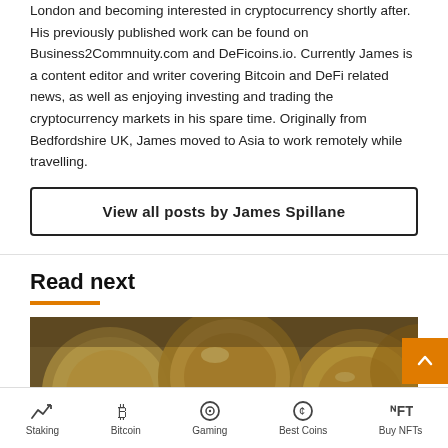London and becoming interested in cryptocurrency shortly after. His previously published work can be found on Business2Commnuity.com and DeFicoins.io. Currently James is a content editor and writer covering Bitcoin and DeFi related news, as well as enjoying investing and trading the cryptocurrency markets in his spare time. Originally from Bedfordshire UK, James moved to Asia to work remotely while travelling.
View all posts by James Spillane
Read next
[Figure (photo): Close-up photo of gold/silver coins with blurred background]
Staking | Bitcoin | Gaming | Best Coins | Buy NFTs